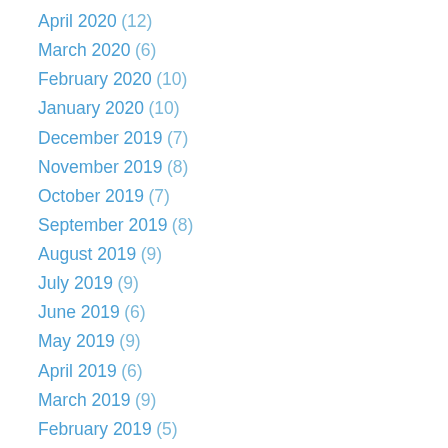April 2020 (12)
March 2020 (6)
February 2020 (10)
January 2020 (10)
December 2019 (7)
November 2019 (8)
October 2019 (7)
September 2019 (8)
August 2019 (9)
July 2019 (9)
June 2019 (6)
May 2019 (9)
April 2019 (6)
March 2019 (9)
February 2019 (5)
January 2019 (7)
December 2018 (7)
November 2018 (8)
October 2018 (7)
September 2018 (7)